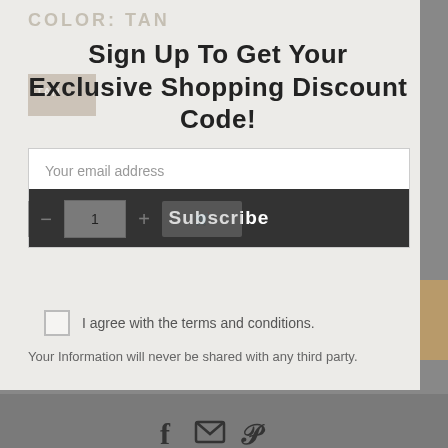COLOR: TAN
Sign Up To Get Your Exclusive Shopping Discount Code!
Your email address
Subscribe
I agree with the terms and conditions.
Your Information will never be shared with any third party.
[Figure (infographic): Social sharing icons: Facebook (f), Email (envelope), Pinterest (P)]
10 sold in last 18 hours
WANTED
GB